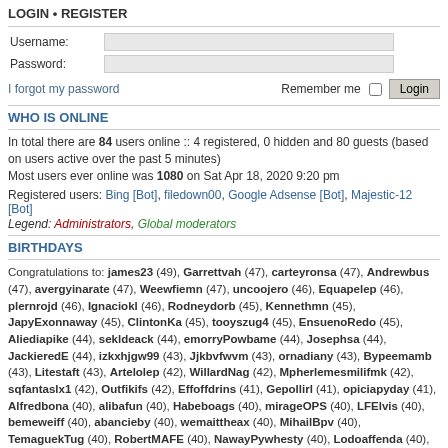LOGIN • REGISTER
| Label | Input |
| --- | --- |
| Username: |  |
| Password: |  |
I forgot my password    Remember me ☐  Login
WHO IS ONLINE
In total there are 84 users online :: 4 registered, 0 hidden and 80 guests (based on users active over the past 5 minutes)
Most users ever online was 1080 on Sat Apr 18, 2020 9:20 pm
Registered users: Bing [Bot], filedown00, Google Adsense [Bot], Majestic-12 [Bot]
Legend: Administrators, Global moderators
BIRTHDAYS
Congratulations to: james23 (49), Garrettvah (47), carteyronsa (47), Andrewbus (47), avergyinarate (47), Weewfiemn (47), uncoojero (46), Equapelep (46), plernrojd (46), Ignaciokl (46), Rodneydorb (45), Kennethmn (45), JapyExonnaway (45), ClintonKa (45), tooyszug4 (45), EnsuenoRedo (45), Aliediapike (44), sekldeack (44), emorryPowbame (44), Josephsa (44), JackieredE (44), izkxhjgw99 (43), Jjkbvfwvm (43), ornadiany (43), Bypeemamb (43), Litestaft (43), Artelolep (42), WillardNag (42), Mpherlemesmilifmk (42), sqfantaslx1 (42), Outfikifs (42), Effoffdrins (41), Gepollirl (41), opiciapyday (41), Alfredbona (40), alibafun (40), Habeboags (40), mirageOPS (40), LFElvis (40), bemeweiff (40), abancieby (40), wemaittheax (40), MihailBpv (40), TemaguekTug (40), RobertMAFE (40), NawayPywhesty (40), Lodoaffenda (40), Orgadoduark (40), ramqthiw (40), loliarrocky (39), CamWaiLsWhisy (39), Elolleyhite (39), noexbplb01 (39), gkusernamep7 (39), innobegoore (39), Brendab (39), foussyObsette (39), FaxbotaAstoft (39), AnyclePlornen (39), aikobequillard183 (39),